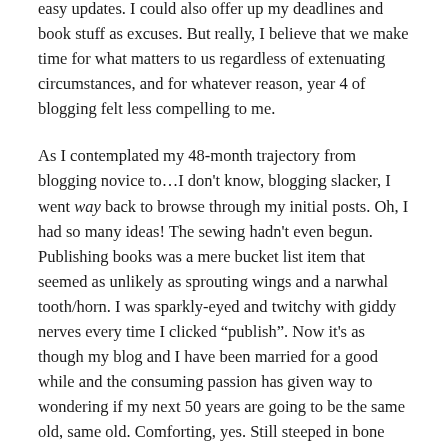easy updates. I could also offer up my deadlines and book stuff as excuses. But really, I believe that we make time for what matters to us regardless of extenuating circumstances, and for whatever reason, year 4 of blogging felt less compelling to me.
As I contemplated my 48-month trajectory from blogging novice to…I don't know, blogging slacker, I went way back to browse through my initial posts. Oh, I had so many ideas! The sewing hadn't even begun. Publishing books was a mere bucket list item that seemed as unlikely as sprouting wings and a narwhal tooth/horn. I was sparkly-eyed and twitchy with giddy nerves every time I clicked “publish”. Now it's as though my blog and I have been married for a good while and the consuming passion has given way to wondering if my next 50 years are going to be the same old, same old. Comforting, yes. Still steeped in bone marrow level love, absolutely. But suspicious that maybe, just maybe, there could be more? Is it a matter of spicing things up? Am I being too complacent? Maybe we need to go on an adventurous road trip or sew up